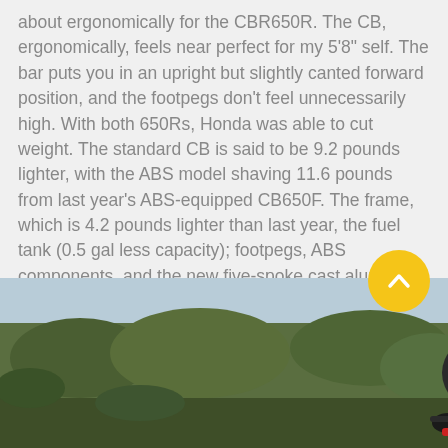about ergonomically for the CBR650R. The CB, ergonomically, feels near perfect for my 5'8" self. The bar puts you in an upright but slightly canted forward position, and the footpegs don't feel unnecessarily high. With both 650Rs, Honda was able to cut weight. The standard CB is said to be 9.2 pounds lighter, with the ABS model shaving 11.6 pounds from last year's ABS-equipped CB650F. The frame, which is 4.2 pounds lighter than last year, the fuel tank (0.5 gal less capacity); footpegs, ABS components, and the new five-spoke cast aluminum wheels are all lightened.
[Figure (photo): A motorcycle rider wearing a black helmet and riding gear, photographed outdoors with trees and hillside vegetation in the background.]